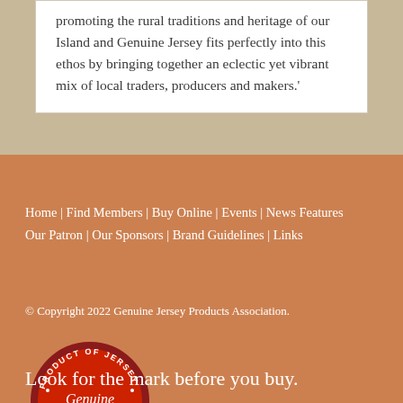promoting the rural traditions and heritage of our Island and Genuine Jersey fits perfectly into this ethos by bringing together an eclectic yet vibrant mix of local traders, producers and makers.'
Home | Find Members | Buy Online | Events | News Features
Our Patron | Our Sponsors | Brand Guidelines | Links
© Copyright 2022 Genuine Jersey Products Association.
[Figure (logo): Genuine Jersey 'Product of Jersey' circular red stamp logo with cursive 'Genuine Jersey' text]
Look for the mark before you buy.